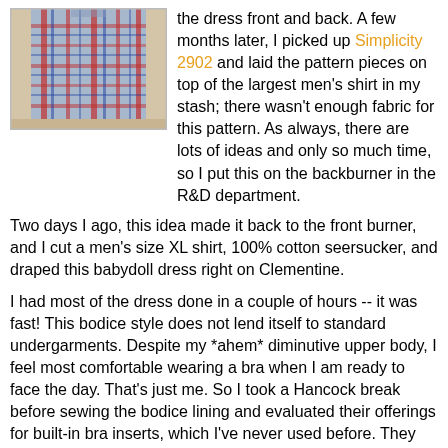[Figure (photo): A plaid shirt or fabric hanging, showing blue and red plaid pattern]
the dress front and back. A few months later, I picked up Simplicity 2902 and laid the pattern pieces on top of the largest men's shirt in my stash; there wasn't enough fabric for this pattern. As always, there are lots of ideas and only so much time, so I put this on the backburner in the R&D department.
Two days I ago, this idea made it back to the front burner, and I cut a men's size XL shirt, 100% cotton seersucker, and draped this babydoll dress right on Clementine.
I had most of the dress done in a couple of hours -- it was fast! This bodice style does not lend itself to standard undergarments. Despite my *ahem* diminutive upper body, I feel most comfortable wearing a bra when I am ready to face the day. That's just me. So I took a Hancock break before sewing the bodice lining and evaluated their offerings for built-in bra inserts, which I've never used before. They had an impressive array of options. The "fits cup size A/B" versions were automatically out of the running, and the only "full bra" option was this one: